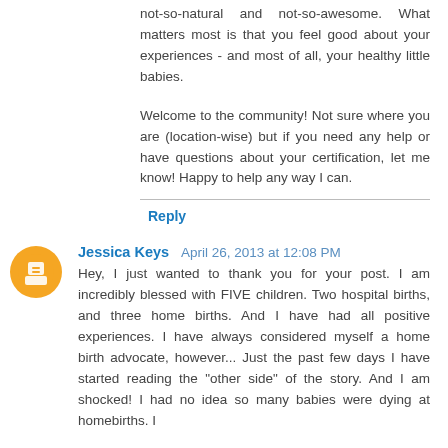not-so-natural and not-so-awesome. What matters most is that you feel good about your experiences - and most of all, your healthy little babies.
Welcome to the community! Not sure where you are (location-wise) but if you need any help or have questions about your certification, let me know! Happy to help any way I can.
Reply
Jessica Keys April 26, 2013 at 12:08 PM
Hey, I just wanted to thank you for your post. I am incredibly blessed with FIVE children. Two hospital births, and three home births. And I have had all positive experiences. I have always considered myself a home birth advocate, however... Just the past few days I have started reading the "other side" of the story. And I am shocked! I had no idea so many babies were dying at homebirths. I